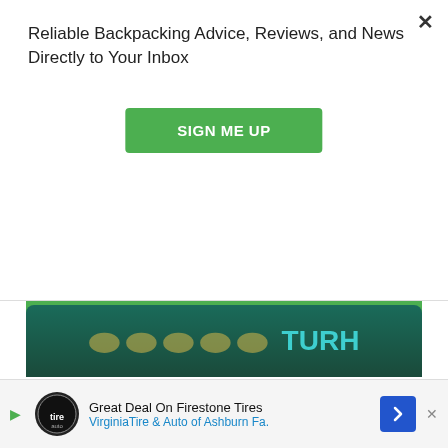Reliable Backpacking Advice, Reviews, and News Directly to Your Inbox
SIGN ME UP
you’re not already a Co-op member, you can earn $30 toward your next purchase if you join up between now and June 22nd.
Shop the REI June Clearance Event
< Previous Post
Next Post >
[Figure (other): Bottom banner with partial text showing stylized letters in yellow/teal on dark green background]
Great Deal On Firestone Tires